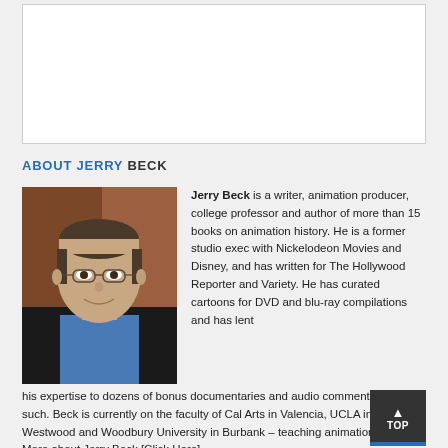[Figure (photo): White content box at top of page, appears to be a banner or header area with white background and light border]
ABOUT JERRY BECK
[Figure (photo): Headshot photograph of Jerry Beck, a middle-aged man with glasses, thinning hair, wearing a blue shirt and dark jacket, smiling at camera]
Jerry Beck is a writer, animation producer, college professor and author of more than 15 books on animation history. He is a former studio exec with Nickelodeon Movies and Disney, and has written for The Hollywood Reporter and Variety. He has curated cartoons for DVD and blu-ray compilations and has lent his expertise to dozens of bonus documentaries and audio commentaries on such. Beck is currently on the faculty of Cal Arts in Valencia, UCLA in Westwood and Woodbury University in Burbank – teaching animation history. More about Jerry Beck [Click Here]